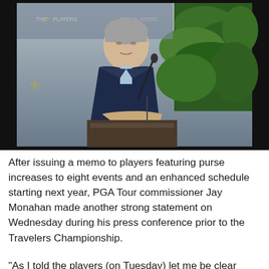[Figure (photo): PGA Tour commissioner Jay Monahan standing at a podium with microphone, wearing a navy blazer, at what appears to be a press conference with The Players Championship branding visible in the background and tropical plants behind him.]
After issuing a memo to players featuring purse increases to eight events and an enhanced schedule starting next year, PGA Tour commissioner Jay Monahan made another strong statement on Wednesday during his press conference prior to the Travelers Championship.
"As I told the players (on Tuesday) let me be clear about